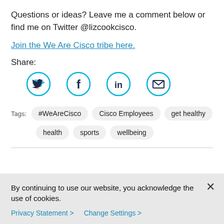Questions or ideas? Leave me a comment below or find me on Twitter @lizcookcisco.
Join the We Are Cisco tribe here.
Share:
[Figure (infographic): Four social media share icons in cyan circles: Twitter bird, Facebook f, LinkedIn in, and email envelope]
Tags: #WeAreCisco  Cisco Employees  get healthy  health  sports  wellbeing
By continuing to use our website, you acknowledge the use of cookies.
Privacy Statement >  Change Settings >